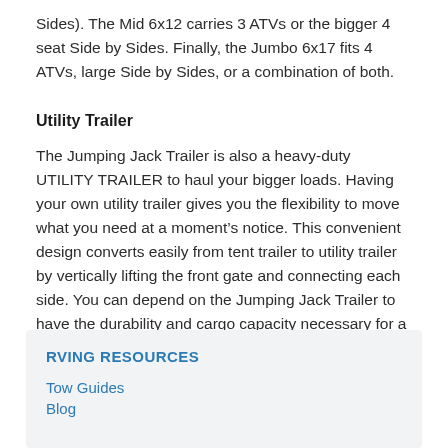Sides). The Mid 6x12 carries 3 ATVs or the bigger 4 seat Side by Sides. Finally, the Jumbo 6x17 fits 4 ATVs, large Side by Sides, or a combination of both.
Utility Trailer
The Jumping Jack Trailer is also a heavy-duty UTILITY TRAILER to haul your bigger loads. Having your own utility trailer gives you the flexibility to move what you need at a moment’s notice. This convenient design converts easily from tent trailer to utility trailer by vertically lifting the front gate and connecting each side. You can depend on the Jumping Jack Trailer to have the durability and cargo capacity necessary for a real work hauler.
RVING RESOURCES
Tow Guides
Blog